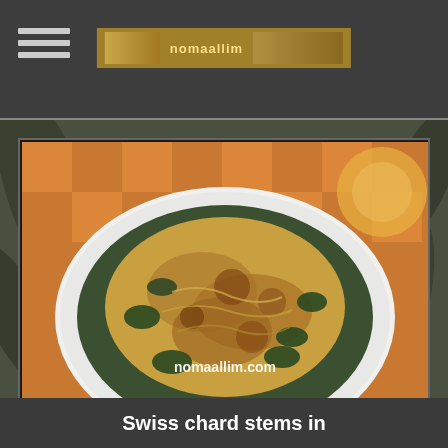nomaallim.com header navigation
[Figure (photo): A plate of Swiss chard stems cooked with caramelized onions, served on a white oval plate on a checkered tablecloth. The dish shows golden-brown sauteed onions mixed with dark green chard leaves. The image is watermarked with 'nomaallim.com'.]
Swiss chard stems in